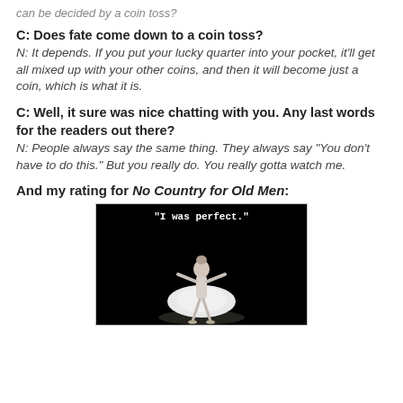can be decided by a coin toss?
C: Does fate come down to a coin toss?
N: It depends. If you put your lucky quarter into your pocket, it'll get all mixed up with your other coins, and then it will become just a coin, which is what it is.
C: Well, it sure was nice chatting with you. Any last words for the readers out there?
N: People always say the same thing. They always say "You don't have to do this." But you really do. You really gotta watch me.
And my rating for No Country for Old Men:
[Figure (photo): Black background image showing a ballerina in a white tutu with the text '"I was perfect."' overlaid at the top in white monospace font.]